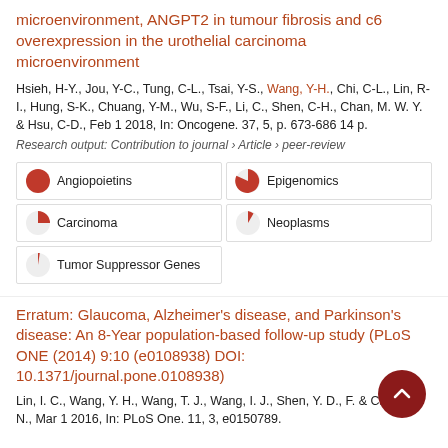microenvironment, ANGPT2 in tumour fibrosis and c6 overexpression in the urothelial carcinoma microenvironment
Hsieh, H-Y., Jou, Y-C., Tung, C-L., Tsai, Y-S., Wang, Y-H., Chi, C-L., Lin, R-I., Hung, S-K., Chuang, Y-M., Wu, S-F., Li, C., Shen, C-H., Chan, M. W. Y. & Hsu, C-D., Feb 1 2018, In: Oncogene. 37, 5, p. 673-686 14 p.
Research output: Contribution to journal › Article › peer-review
[Figure (infographic): Keyword badges with pie chart icons: Angiopoietins (100%), Epigenomics (67%), Carcinoma (50%), Neoplasms (25%), Tumor Suppressor Genes (14%)]
Erratum: Glaucoma, Alzheimer's disease, and Parkinson's disease: An 8-Year population-based follow-up study (PLoS ONE (2014) 9:10 (e0108938) DOI: 10.1371/journal.pone.0108938)
Lin, I. C., Wang, Y. H., Wang, T. J., Wang, I. J., Shen, Y. D., F. & Chien, L. N., Mar 1 2016, In: PLoS One. 11, 3, e0150789.